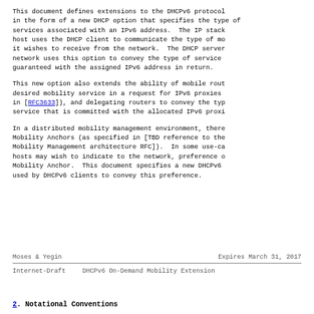This document defines extensions to the DHCPv6 protocol in the form of a new DHCP option that specifies the type of services associated with an IPv6 address.  The IP stack of a host uses the DHCP client to communicate the type of mobility it wishes to receive from the network.  The DHCP server in the network uses this option to convey the type of service guaranteed with the assigned IPv6 address in return.
This new option also extends the ability of mobile routers to indicate the desired mobility service in a request for IPv6 proxies (as specified in [RFC3633]), and delegating routers to convey the type of mobility service that is committed with the allocated IPv6 prefixes.
In a distributed mobility management environment, there may be multiple Mobility Anchors (as specified in [TBD reference to the Distributed Mobility Management architecture RFC]).  In some use-cases, mobile hosts may wish to indicate to the network, preference over the type of Mobility Anchor.  This document specifies a new DHCPv6 option that can be used by DHCPv6 clients to convey this preference.
Moses & Yegin                    Expires March 31, 2017
Internet-Draft      DHCPv6 On-Demand Mobility Extension
2.  Notational Conventions